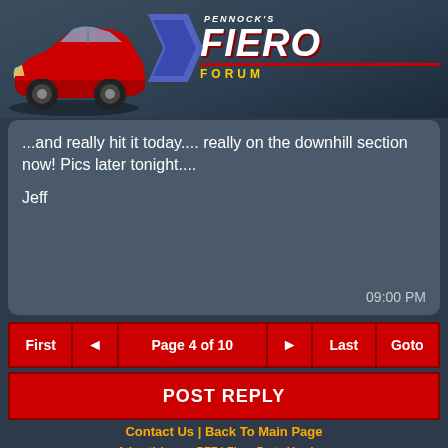[Figure (screenshot): Pennock's Fiero Forum header banner with red Pontiac Fiero car illustration and forum logo with blue arrow shape]
...and really hit it today.... really on the downhill section now! Pics later tonight....
Jeff
09:00 PM
First  ◄  Page 4 of 10  ►  Last  Goto
POST REPLY
Contact Us | Back To Main Page
Advertizing on PFF | Fiero Parts Vendors
PFF Merchandise | Fiero Gallery | Ogre's Cave
Real-Time Chat | Fiero Related Auctions on eBay
[Figure (logo): Pennock's Image Poster auto config banner/button]
Copyright (c) 1999, C. Pennock